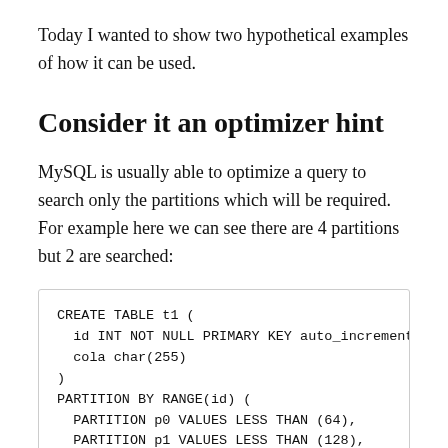Today I wanted to show two hypothetical examples of how it can be used.
Consider it an optimizer hint
MySQL is usually able to optimize a query to search only the partitions which will be required. For example here we can see there are 4 partitions but 2 are searched:
CREATE TABLE t1 (
  id INT NOT NULL PRIMARY KEY auto_increment,
  cola char(255)
)
PARTITION BY RANGE(id) (
  PARTITION p0 VALUES LESS THAN (64),
  PARTITION p1 VALUES LESS THAN (128),
  PARTITION p2 VALUES LESS THAN (192),
  PARTITION p3 VALUES LESS THAN MAXVALUE